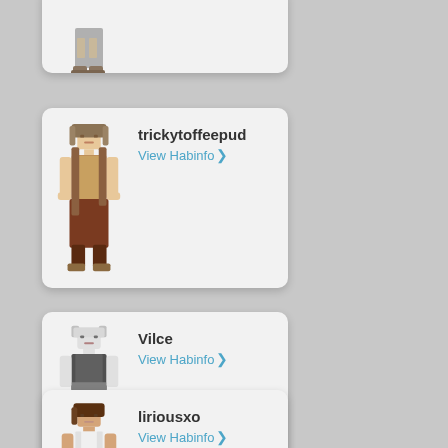[Figure (illustration): Partially visible Habbo Hotel character card at top of page, avatar only partially shown]
[Figure (illustration): Habbo Hotel user card for trickytoffeepud showing pixel avatar character with medieval/fantasy outfit]
trickytoffeepud
View Habinfo >
[Figure (illustration): Habbo Hotel user card for Vilce showing pixel avatar character with grey/white outfit and tail]
Vilce
View Habinfo >
[Figure (illustration): Habbo Hotel user card for liriousxo showing pixel avatar character with brown hair and casual outfit]
liriousxo
View Habinfo >